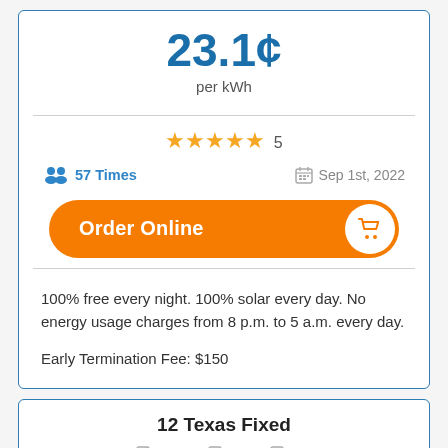23.1¢ per kWh
★★★★★ 5
57 Times
Sep 1st, 2022
Order Online
100% free every night. 100% solar every day. No energy usage charges from 8 p.m. to 5 a.m. every day.
Early Termination Fee: $150
12 Texas Fixed
YRAC  TOS  EFL